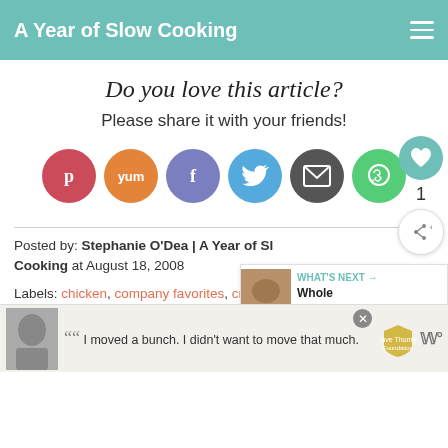A Year of Slow Cooking
Do you love this article?
Please share it with your friends!
[Figure (infographic): Six circular social share buttons: Pinterest (red), Yummly (orange), Facebook (purple), Twitter (blue), Email (dark gray), WhatsApp (green)]
Posted by: Stephanie O'Dea | A Year of Slow Cooking at August 18, 2008
Labels: chicken, company favorites, crockpot, fun stuff,
[Figure (infographic): Advertisement banner: Dave Thomas Foundation for Adoption ad with quote 'I moved a bunch. I didn't want to move that much.']